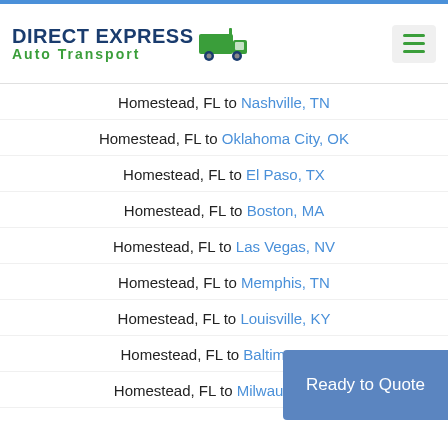DIRECT EXPRESS Auto Transport
Homestead, FL to Nashville, TN
Homestead, FL to Oklahoma City, OK
Homestead, FL to El Paso, TX
Homestead, FL to Boston, MA
Homestead, FL to Las Vegas, NV
Homestead, FL to Memphis, TN
Homestead, FL to Louisville, KY
Homestead, FL to Baltimore, MD
Homestead, FL to Milwaukee, WI